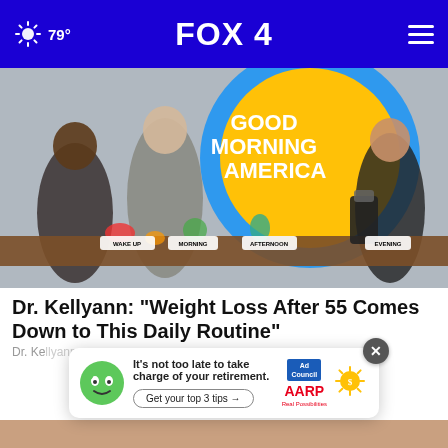79° FOX 4
[Figure (photo): Women on the set of Good Morning America at a table with food and blenders, with labels WAKE UP, MORNING, AFTERNOON, EVENING]
Dr. Kellyann: "Weight Loss After 55 Comes Down to This Daily Routine"
Dr. Ke...
[Figure (infographic): AARP advertisement: It's not too late to take charge of your retirement. Get your top 3 tips → Ad Council AARP Real Possibilities]